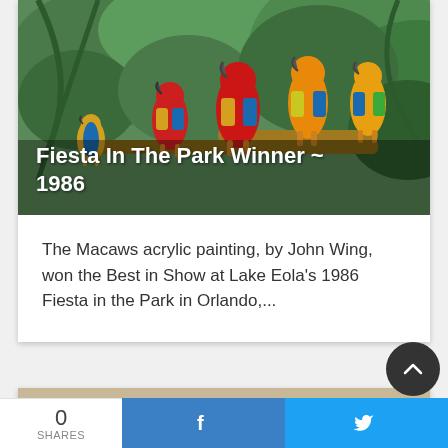[Figure (photo): Painting of colorful macaws (red, yellow, blue) perched on branches among tropical green foliage]
Fiesta In The Park Winner ~ 1986
The Macaws acrylic painting, by John Wing, won the Best in Show at Lake Eola's 1986 Fiesta in the Park in Orlando,...
[Figure (photo): Beige/tan background with sculpted or carved shapes resembling shells or organic forms in muted purple and cream tones]
0
SHARES